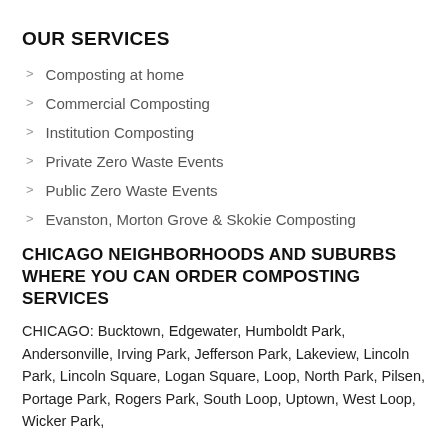OUR SERVICES
Composting at home
Commercial Composting
Institution Composting
Private Zero Waste Events
Public Zero Waste Events
Evanston, Morton Grove & Skokie Composting
CHICAGO NEIGHBORHOODS AND SUBURBS WHERE YOU CAN ORDER COMPOSTING SERVICES
CHICAGO: Bucktown, Edgewater, Humboldt Park, Andersonville, Irving Park, Jefferson Park, Lakeview, Lincoln Park, Lincoln Square, Logan Square, Loop, North Park, Pilsen, Portage Park, Rogers Park, South Loop, Uptown, West Loop, Wicker Park,